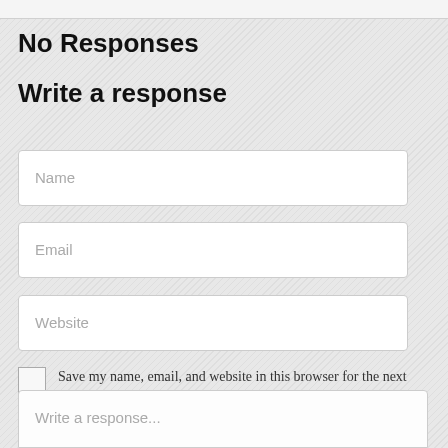No Responses
Write a response
Name
Email
Website
Save my name, email, and website in this browser for the next time I comment.
Write a response...